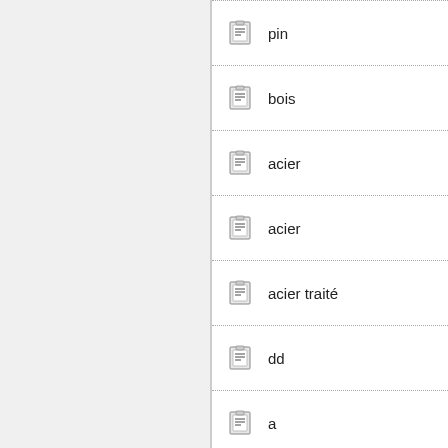pin
bois
acier
acier
acier traité
dd
a